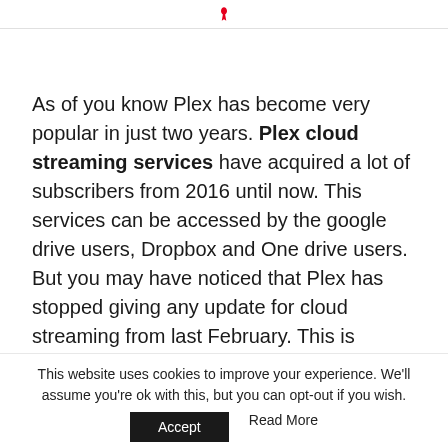[Plex logo icon]
As of you know Plex has become very popular in just two years. Plex cloud streaming services have acquired a lot of subscribers from 2016 until now. This services can be accessed by the google drive users, Dropbox and One drive users. But you may have noticed that Plex has stopped giving any update for cloud streaming from last February. This is because they wanted to make some technical update for best quality services at a reasonable price. But they failed.
This website uses cookies to improve your experience. We'll assume you're ok with this, but you can opt-out if you wish.
Accept    Read More